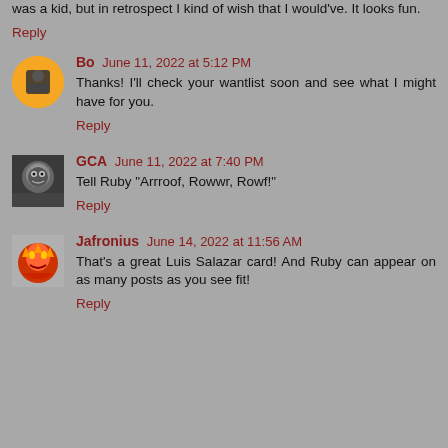was a kid, but in retrospect I kind of wish that I would've. It looks fun.
Reply
Bo  June 11, 2022 at 5:12 PM
Thanks! I'll check your wantlist soon and see what I might have for you.
Reply
GCA  June 11, 2022 at 7:40 PM
Tell Ruby "Arrroof, Rowwr, Rowf!"
Reply
Jafronius  June 14, 2022 at 11:56 AM
That's a great Luis Salazar card! And Ruby can appear on as many posts as you see fit!
Reply